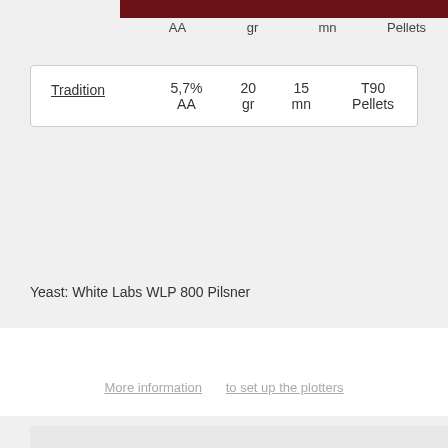AA   gr   mn   Pellets
|  | AA | gr | mn | Pellets |
| --- | --- | --- | --- | --- |
| Tradition | 5,7%
AA | 20
gr | 15
mn | T90
Pellets |
Yeast: White Labs WLP 800 Pilsner
More information   to set up the plotters